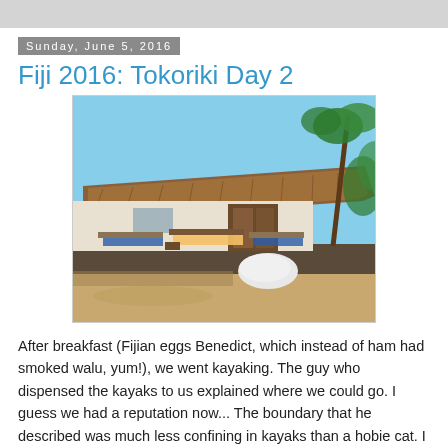Sunday, June 5, 2016
Fiji 2016: Tokoriki Day 2
[Figure (photo): A thatched-roof Fijian bungalow with outdoor lounge chairs/daybeds on a wooden deck, sandy ground in foreground, blue sky and palm trees in background.]
After breakfast (Fijian eggs Benedict, which instead of ham had smoked walu, yum!), we went kayaking. The guy who dispensed the kayaks to us explained where we could go. I guess we had a reputation now... The boundary that he described was much less confining in kayaks than a hobie cat. I was originally hoping for a two person kayak, but none were available. I like the idea of a two person kayak.